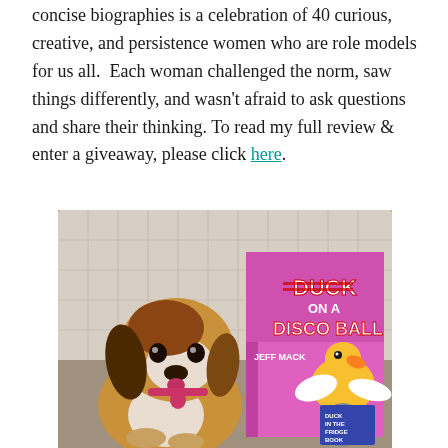concise biographies is a celebration of 40 curious, creative, and persistence women who are role models for us all.  Each woman challenged the norm, saw things differently, and wasn't afraid to ask questions and share their thinking. To read my full review & enter a giveaway, please click here.
[Figure (photo): A beagle dog sitting on a couch next to a book titled 'Duck on a Disco Ball' by Jeff Mack, with a smaller book 'Duck in the Fridge Book' visible. White pillow in background.]